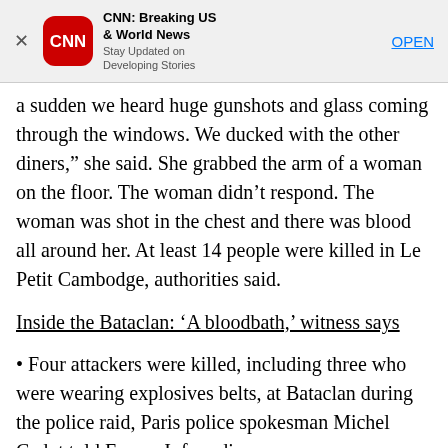[Figure (screenshot): CNN app banner advertisement with CNN logo, app name 'CNN: Breaking US & World News', tagline 'Stay Updated on Developing Stories', and an OPEN button]
a sudden we heard huge gunshots and glass coming through the windows. We ducked with the other diners," she said. She grabbed the arm of a woman on the floor. The woman didn't respond. The woman was shot in the chest and there was blood all around her. At least 14 people were killed in Le Petit Cambodge, authorities said.
Inside the Bataclan: 'A bloodbath,' witness says
• Four attackers were killed, including three who were wearing explosives belts, at Bataclan during the police raid, Paris police spokesman Michel Cadot told France Info radio.